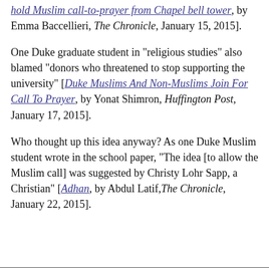hold Muslim call-to-prayer from Chapel bell tower, by Emma Baccellieri, The Chronicle, January 15, 2015].
One Duke graduate student in "religious studies" also blamed "donors who threatened to stop supporting the university" [Duke Muslims And Non-Muslims Join For Call To Prayer, by Yonat Shimron, Huffington Post, January 17, 2015].
Who thought up this idea anyway? As one Duke Muslim student wrote in the school paper, "The idea [to allow the Muslim call] was suggested by Christy Lohr Sapp, a Christian" [Adhan, by Abdul Latif, The Chronicle, January 22, 2015].